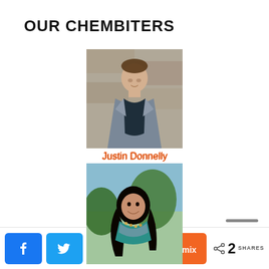OUR CHEMBITERS
[Figure (photo): Photo of Justin Donnelly, a young man in a grey blazer and dark shirt standing in front of a stone wall]
Justin Donnelly
[Figure (photo): Photo of Chelsea Anorma, a young woman with long dark hair wearing a teal top and scarf, outdoors]
Chelsea Anorma
[Figure (photo): Generic placeholder person silhouette icon on grey background for Alex King]
Alex King
[Figure (photo): Partial view of a fourth person's placeholder photo, cropped at bottom of page]
Share buttons: Facebook, Twitter, LinkedIn, Pinterest, Mix — 2 SHARES